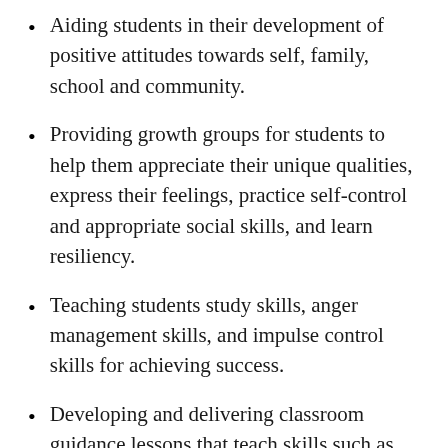Aiding students in their development of positive attitudes towards self, family, school and community.
Providing growth groups for students to help them appreciate their unique qualities, express their feelings, practice self-control and appropriate social skills, and learn resiliency.
Teaching students study skills, anger management skills, and impulse control skills for achieving success.
Developing and delivering classroom guidance lessons that teach skills such as making healthy decisions, resolving conflicts, and respecting others.
Assisting students...